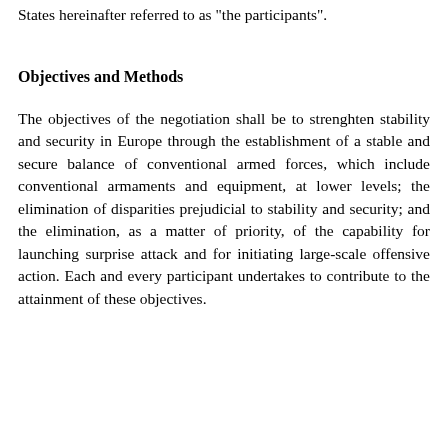States hereinafter referred to as "the participants".
Objectives and Methods
The objectives of the negotiation shall be to strenghten stability and security in Europe through the establishment of a stable and secure balance of conventional armed forces, which include conventional armaments and equipment, at lower levels; the elimination of disparities prejudicial to stability and security; and the elimination, as a matter of priority, of the capability for launching surprise attack and for initiating large-scale offensive action. Each and every participant undertakes to contribute to the attainment of these objectives.